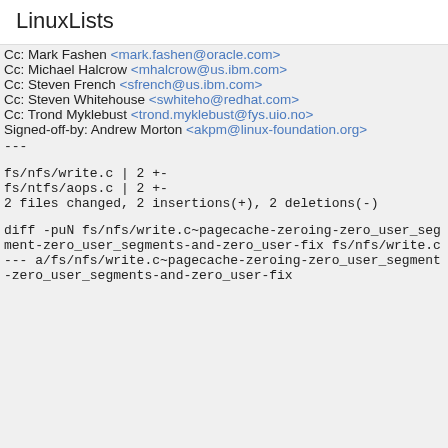LinuxLists
Cc: Mark Fashen <mark.fashen@oracle.com>
Cc: Michael Halcrow <mhalcrow@us.ibm.com>
Cc: Steven French <sfrench@us.ibm.com>
Cc: Steven Whitehouse <swhiteho@redhat.com>
Cc: Trond Myklebust <trond.myklebust@fys.uio.no>
Signed-off-by: Andrew Morton <akpm@linux-foundation.org>
---
fs/nfs/write.c | 2 +-
fs/ntfs/aops.c | 2 +-
2 files changed, 2 insertions(+), 2 deletions(-)
diff -puN fs/nfs/write.c~pagecache-zeroing-zero_user_segment-zero_user_segments-and-zero_user-fix fs/nfs/write.c
--- a/fs/nfs/write.c~pagecache-zeroing-zero_user_segment-zero_user_segments-and-zero_user-fix